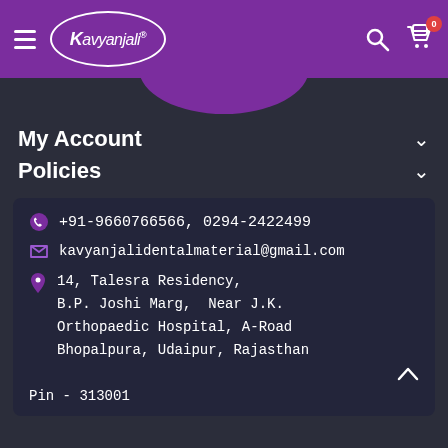Kavyanjali - navigation header with logo, search and cart
[Figure (screenshot): Logo curve bottom portion visible below header]
My Account
Policies
+91-9660766566, 0294-2422499
kavyanjalidentalmaterial@gmail.com
14, Talesra Residency, B.P. Joshi Marg, Near J.K. Orthopaedic Hospital, A-Road Bhopalpura, Udaipur, Rajasthan
Pin - 313001